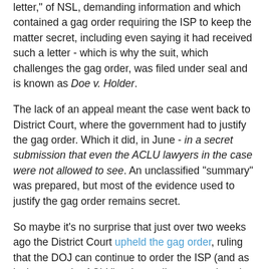letter," of NSL, demanding information and which contained a gag order requiring the ISP to keep the matter secret, including even saying it had received such a letter - which is why the suit, which challenges the gag order, was filed under seal and is known as Doe v. Holder.
The lack of an appeal meant the case went back to District Court, where the government had to justify the gag order. Which it did, in June - in a secret submission that even the ACLU lawyers in the case were not allowed to see. An unclassified "summary" was prepared, but most of the evidence used to justify the gag order remains secret.
So maybe it's no surprise that just over two weeks ago the District Court upheld the gag order, ruling that the DOJ can continue to order the ISP (and as its lawyers, the ACLU) to keep silent even about its identity.
What makes this even more bizarre, if there can be something more bizarre than NSLs themselves, which amount to secret, extra-judicial warrants issued without even a facade of court oversight, is that the original NSL in the